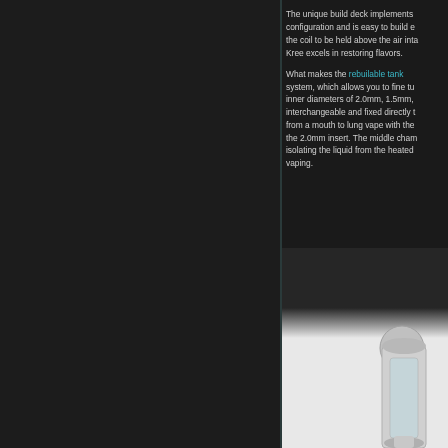The unique build deck implements configuration and is easy to build even for the coil to be held above the air intake. The Kree excels in restoring flavors.
What makes the rebuilable tank special is the system, which allows you to fine tune with inner diameters of 2.0mm, 1.5mm, which are interchangeable and fixed directly to switch from a mouth to lung vape with the 2.0mm insert. The middle chamber isolating the liquid from the heated vaping.
[Figure (photo): Photo of a vaping device/tank, partially visible, with a metallic glass tank body on a dark background]